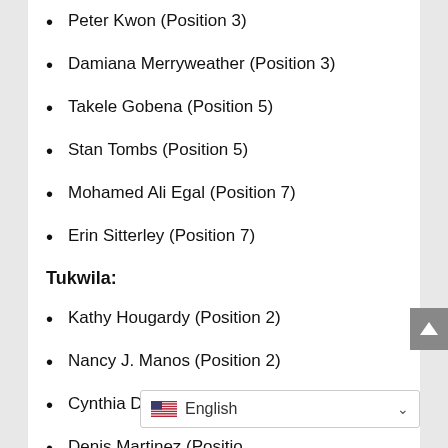Peter Kwon (Position 3)
Damiana Merryweather (Position 3)
Takele Gobena (Position 5)
Stan Tombs (Position 5)
Mohamed Ali Egal (Position 7)
Erin Sitterley (Position 7)
Tukwila:
Kathy Hougardy (Position 2)
Nancy J. Manos (Position 2)
Cynthia Delostrinos Johnson (Position 4)
Denis Martinez (Position …)